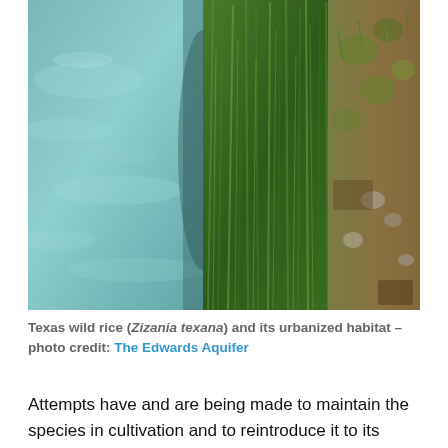[Figure (photo): Aerial or close-up view of Texas wild rice (Zizania texana) growing at the water's edge, showing clear water on the left and dense green grass/reeds meeting a rocky, earthy bank on the right.]
Texas wild rice (Zizania texana) and its urbanized habitat – photo credit: The Edwards Aquifer
Attempts have and are being made to maintain the species in cultivation and to reintroduce it to its original locations, but its habitat has been so drastically altered that it will need constant management and attention for